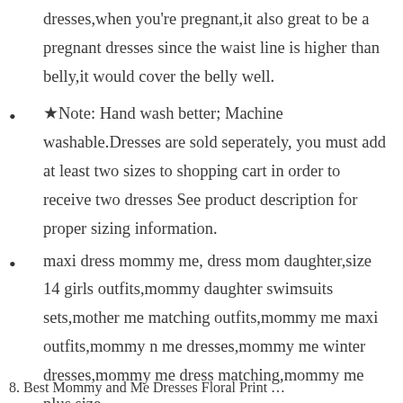dresses,when you’re pregnant,it also great to be a pregnant dresses since the waist line is higher than belly,it would cover the belly well.
★Note: Hand wash better; Machine washable.Dresses are sold seperately, you must add at least two sizes to shopping cart in order to receive two dresses See product description for proper sizing information.
maxi dress mommy me, dress mom daughter,size 14 girls outfits,mommy daughter swimsuits sets,mother me matching outfits,mommy me maxi outfits,mommy n me dresses,mommy me winter dresses,mommy me dress matching,mommy me plus size
8. Best Mommy and Me Dresses Floral Print ...